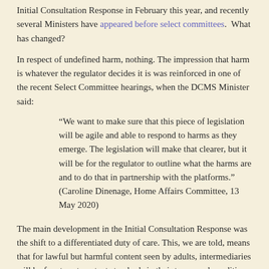Initial Consultation Response in February this year, and recently several Ministers have appeared before select committees. What has changed?
In respect of undefined harm, nothing. The impression that harm is whatever the regulator decides it is was reinforced in one of the recent Select Committee hearings, when the DCMS Minister said:
“We want to make sure that this piece of legislation will be agile and able to respond to harms as they emerge. The legislation will make that clearer, but it will be for the regulator to outline what the harms are and to do that in partnership with the platforms.” (Caroline Dinenage, Home Affairs Committee, 13 May 2020)
The main development in the Initial Consultation Response was the shift to a differentiated duty of care. This, we are told, means that for lawful but harmful content seen by adults, intermediaries will be free to set content standards in their terms and conditions.